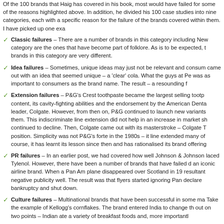Of the 100 brands that Haig has covered in his book, most would have failed for some of the reasons highlighted above. In addition, he divided his 100 case studies into nine categories, each with a specific reason for the failure of the brands covered within them. I have picked up one example from each.
Classic failures – There are a number of brands in this category including New... category are the ones that have become part of folklore. As is to be expected, the... brands in this category are very different.
Idea failures – Sometimes, unique ideas may just not be relevant and consum... came out with an idea that seemed unique – a 'clear' cola. What the guys at Pe... was as important to consumers as the brand name. The result – a resounding f...
Extension failures – P&G's Crest toothpaste became the largest selling tootp... content, its cavity-fighting abilities and the endorsement by the American Denta... leader, Colgate. However, from then on, P&G continued to launch new variants... them. This indiscriminate line extension did not help in an increase in market sh... continued to decline. Then, Colgate came out with its masterstroke – Colgate T... position. Simplicity was not P&G's forte in the 1980s – it line extended many of... course, it has learnt its lesson since then and has rationalised its brand offering...
PR failures – In an earlier post, we had covered how well Johnson & Johnson... laced Tylenol. However, there have been a number of brands that have failed d... an iconic airline brand. When a Pan Am plane disappeared over Scotland in 19... resultant negative publicity well. The result was that flyers started ignoring Pan... declare bankruptcy and shut down.
Culture failures – Multinational brands that have been successful in some ma... Take the example of Kellogg's cornflakes. The brand entered India to change th... out on two points – Indian ate a variety of breakfast foods and, more importantl...